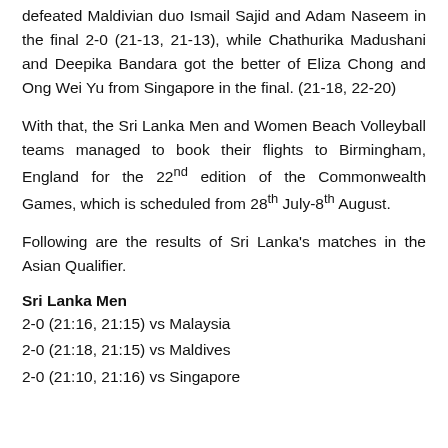defeated Maldivian duo Ismail Sajid and Adam Naseem in the final 2-0 (21-13, 21-13), while Chathurika Madushani and Deepika Bandara got the better of Eliza Chong and Ong Wei Yu from Singapore in the final. (21-18, 22-20)
With that, the Sri Lanka Men and Women Beach Volleyball teams managed to book their flights to Birmingham, England for the 22nd edition of the Commonwealth Games, which is scheduled from 28th July-8th August.
Following are the results of Sri Lanka's matches in the Asian Qualifier.
Sri Lanka Men
2-0 (21:16, 21:15) vs Malaysia
2-0 (21:18, 21:15) vs Maldives
2-0 (21:10, 21:16) vs Singapore